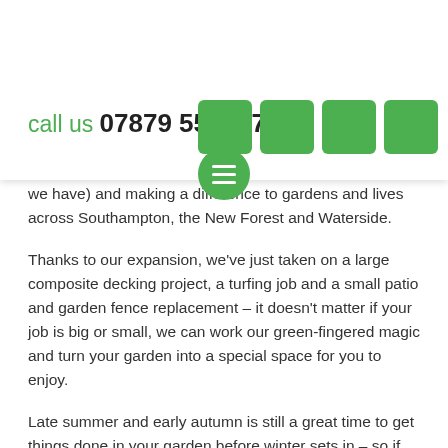call us 07879 552227
[Figure (other): Four green rounded squares arranged horizontally as social media or navigation icons]
[Figure (other): Green circular hamburger/menu button with three white horizontal lines]
we have) and making a difference to gardens and lives across Southampton, the New Forest and Waterside.
Thanks to our expansion, we've just taken on a large composite decking project, a turfing job and a small patio and garden fence replacement – it doesn't matter if your job is big or small, we can work our green-fingered magic and turn your garden into a special space for you to enjoy.
Late summer and early autumn is still a great time to get things done in your garden before winter sets in – so if you've been on the fence about tackling those garden jobs then we're here to